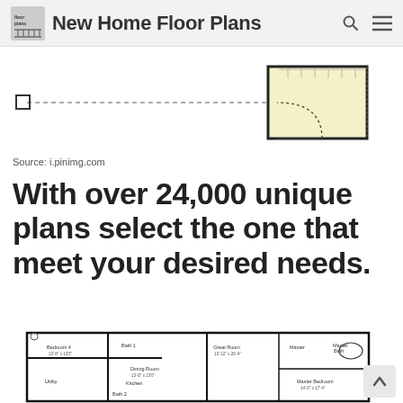New Home Floor Plans
[Figure (engineering-diagram): Partial floor plan schematic showing a room outline with dashed dimension lines and a small window symbol, white background with black lines]
Source: i.pinimg.com
With over 24,000 unique plans select the one that meet your desired needs.
[Figure (engineering-diagram): Detailed house floor plan showing Bedroom 4, Bath 1, Dining Room, Great Room, Kitchen, Utility, Bath 2, Master Bath, Master Closet, and Master Bedroom with room dimensions labeled]